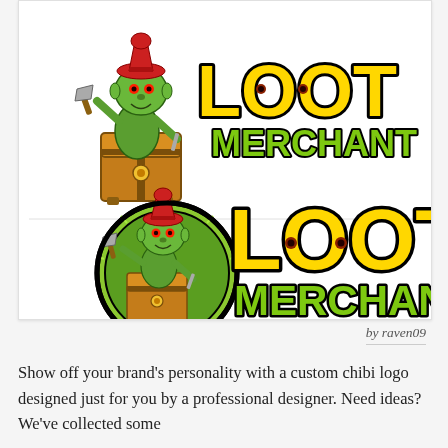[Figure (logo): Two versions of the Loot Merchant logo. Top: a goblin character in a red hat sitting on a treasure chest, next to bold yellow 'LOOT' text with black outline and green 'MERCHANT' below. Bottom: same goblin in a circular green badge design, with larger yellow 'LOOT' and green 'MERCHANT' text with black outlines.]
by raven09
Show off your brand's personality with a custom chibi logo designed just for you by a professional designer. Need ideas? We've collected some